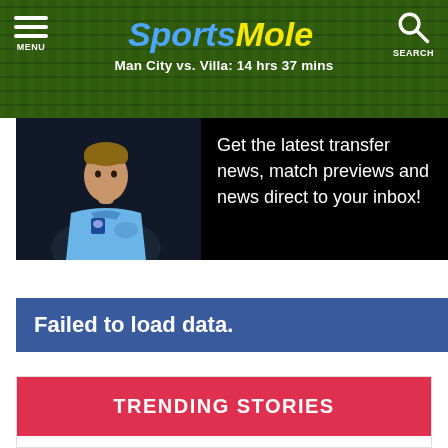Sports Mole — Man City vs. Villa: 14 hrs 37 mins
[Figure (screenshot): Promo banner with footballer in Man City kit and text: Get the latest transfer news, match previews and news direct to your inbox!]
Failed to load data.
TRENDING STORIES